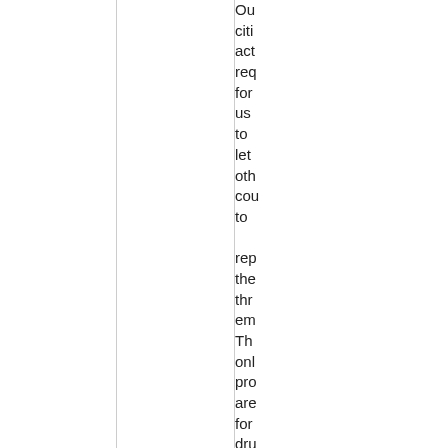Our cities act req for us to let oth cou to rep the thr em The onl pro are for dru can tha occ lan